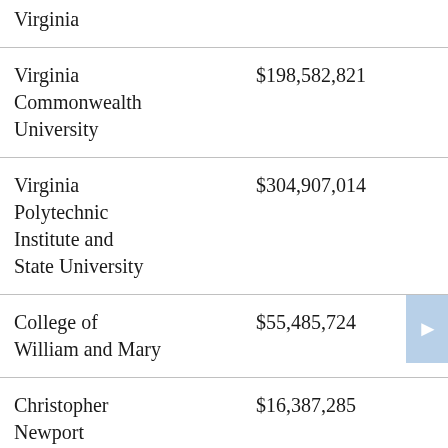| Institution | Amount |
| --- | --- |
| Virginia |  |
| Virginia Commonwealth University | $198,582,821 |
| Virginia Polytechnic Institute and State University | $304,907,014 |
| College of William and Mary | $55,485,724 |
| Christopher Newport University | $16,387,285 |
|  |  |